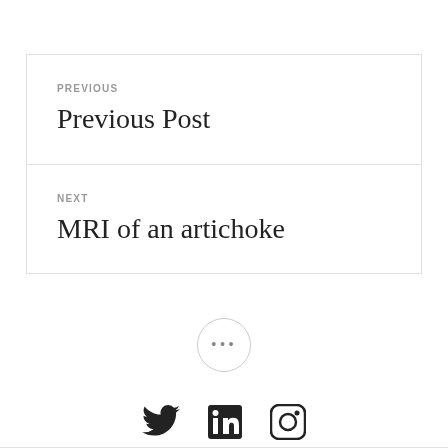PREVIOUS
Previous Post
NEXT
MRI of an artichoke
[Figure (other): Ellipsis button (three dots) inside a circle, used as a navigation control]
[Figure (other): Social media icons: Twitter bird, LinkedIn square logo, Instagram camera logo]